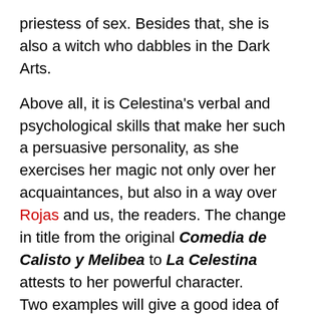priestess of sex. Besides that, she is also a witch who dabbles in the Dark Arts.
Above all, it is Celestina’s verbal and psychological skills that make her such a persuasive personality, as she exercises her magic not only over her acquaintances, but also in a way over Rojas and us, the readers. The change in title from the original Comedia de Calisto y Melibea to La Celestina attests to her powerful character.
Two examples will give a good idea of how perceptive Celestina is to the weaknesses or needs of others.
The first deals with Pármeno, one of Calisto’s two servants. Unlike the corrupt Sempronio –Calisto’s other servant– Pármeno is initially loyal and warns Calisto strongly against Celestina when he sees her at Calisto’s